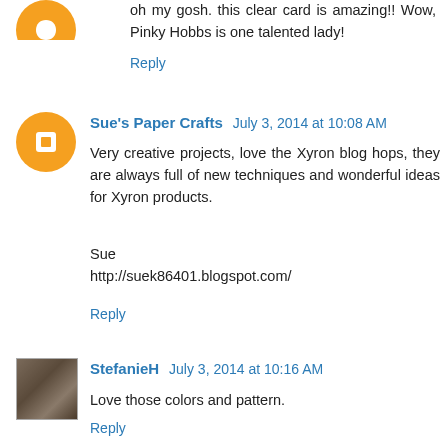oh my gosh. this clear card is amazing!! Wow, Pinky Hobbs is one talented lady!
Reply
Sue's Paper Crafts  July 3, 2014 at 10:08 AM
Very creative projects, love the Xyron blog hops, they are always full of new techniques and wonderful ideas for Xyron products.

Sue
http://suek86401.blogspot.com/
Reply
StefanieH  July 3, 2014 at 10:16 AM
Love those colors and pattern.
Reply